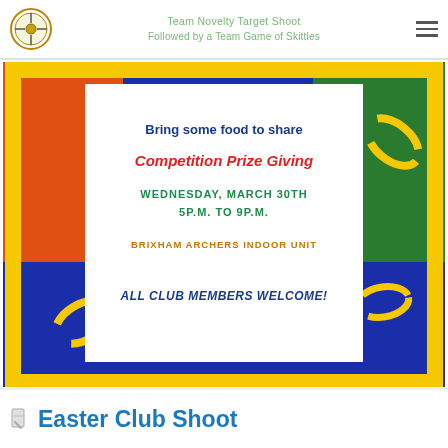Team Novelty Target Shoot
Followed by a Team Game of Skittles
[Figure (infographic): Colorful flyer for Competition Prize Giving event at Brixham Archers Indoor Unit with decorative border and text: Bring some food to share, Competition Prize Giving, Wednesday March 30th 5PM to 9PM, Brixham Archers Indoor Unit, All Club Members Welcome!]
Easter Club Shoot